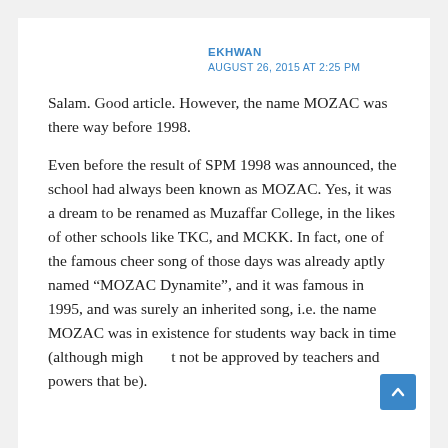EKHWAN
AUGUST 26, 2015 AT 2:25 PM
Salam. Good article. However, the name MOZAC was there way before 1998.
Even before the result of SPM 1998 was announced, the school had always been known as MOZAC. Yes, it was a dream to be renamed as Muzaffar College, in the likes of other schools like TKC, and MCKK. In fact, one of the famous cheer song of those days was already aptly named “MOZAC Dynamite”, and it was famous in 1995, and was surely an inherited song, i.e. the name MOZAC was in existence for students way back in time (although might not be approved by teachers and powers that be).